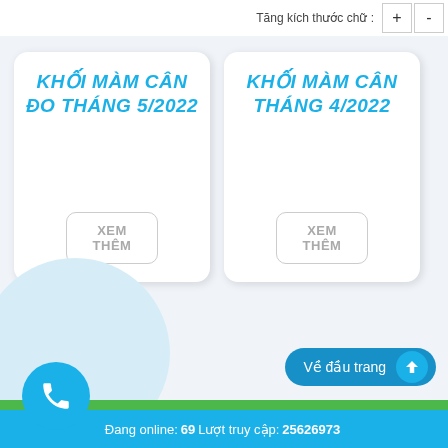Tăng kích thước chữ : + -
KHỐI MÀM CÂN ĐO THÁNG 5/2022
XEM THÊM
KHỐI MÀM CÂN THÁNG 4/2022
XEM THÊM
Về đầu trang
Đang online: 69 Lượt truy cập: 25626973